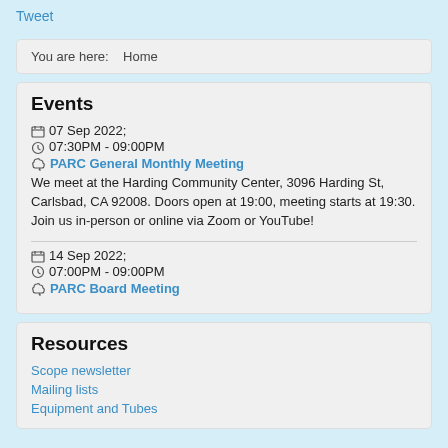Tweet
You are here:   Home
Events
07 Sep 2022;
07:30PM - 09:00PM
PARC General Monthly Meeting
We meet at the Harding Community Center, 3096 Harding St, Carlsbad, CA 92008. Doors open at 19:00, meeting starts at 19:30. Join us in-person or online via Zoom or YouTube!
14 Sep 2022;
07:00PM - 09:00PM
PARC Board Meeting
Resources
Scope newsletter
Mailing lists
Equipment and Tubes